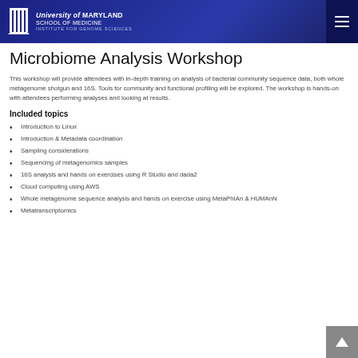University of Maryland School of Medicine Institute for Genome Sciences
Microbiome Analysis Workshop
This workshop will provide attendees with in-depth training on analysis of bacterial community sequence data, both whole metagenome shotgun and 16S. Tools for community and functional profiling will be explored. The workshop is hands-on with attendees performing analyses and looking at results.
Included topics
Introduction to Linux
Introduction & Metadata coordination
Sampling considerations
Sequencing of metagenomics samples
16S analysis and hands on exercises using R Studio and dada2
Cloud computing using AWS
Whole metagenome sequence analysis and hands on exercise using MetaPhIAn & HUMAnN
Metatranscriptomics